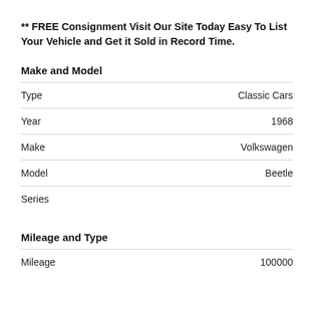** FREE Consignment Visit Our Site Today Easy To List Your Vehicle and Get it Sold in Record Time.
Make and Model
|  |  |
| --- | --- |
| Type | Classic Cars |
| Year | 1968 |
| Make | Volkswagen |
| Model | Beetle |
| Series |  |
Mileage and Type
|  |  |
| --- | --- |
| Mileage | 100000 |